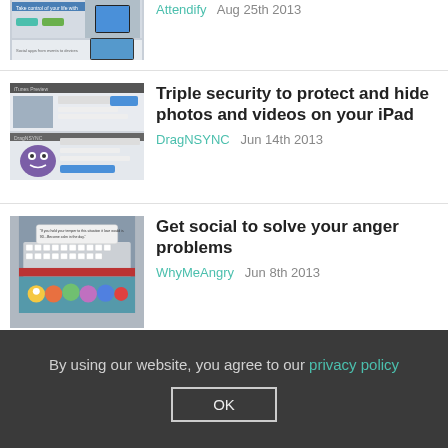[Figure (screenshot): Partial screenshot of a mobile app listing page with device mockups (top of page cut off)]
Attendify   Aug 25th 2013
[Figure (screenshot): Screenshot showing iTunes Preview and DragNSYNC app pages with a purple monster character]
Triple security to protect and hide photos and videos on your iPad
DragNSYNC   Jun 14th 2013
[Figure (screenshot): Screenshot of WhyMeAngry app showing keyboard and cartoon characters]
Get social to solve your anger problems
WhyMeAngry   Jun 8th 2013
By using our website, you agree to our privacy policy  OK